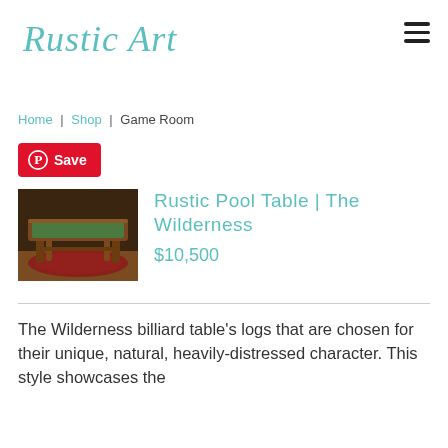Rustic Artistry
Home | Shop | Game Room
[Figure (other): Pinterest Save button in red]
[Figure (photo): Photo of a rustic wooden pool table with green felt top, ornate log legs, on a red patterned rug in a dark wood paneled room]
Rustic Pool Table | The Wilderness
$10,500
The Wilderness billiard table's logs that are chosen for their unique, natural, heavily-distressed character. This style showcases the natural beauty and artisan craft of